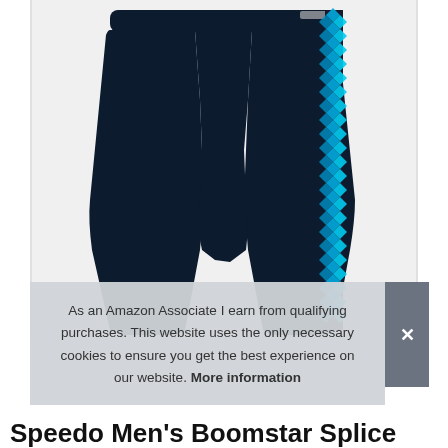[Figure (photo): Dark navy blue men's swim jammer/shorts with a bright blue geometric pattern stripe running down the right side. The garment is displayed against a light gray background.]
As an Amazon Associate I earn from qualifying purchases. This website uses the only necessary cookies to ensure you get the best experience on our website. More information
Speedo Men's Boomstar Splice